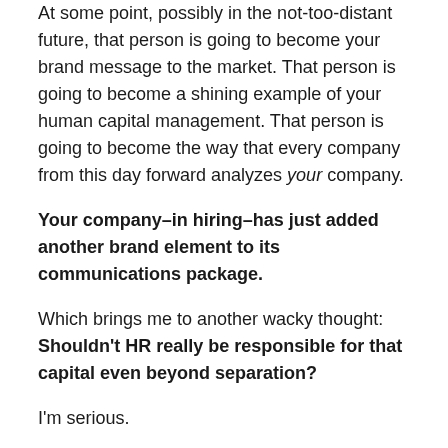At some point, possibly in the not-too-distant future, that person is going to become your brand message to the market. That person is going to become a shining example of your human capital management. That person is going to become the way that every company from this day forward analyzes your company.
Your company–in hiring–has just added another brand element to its communications package.
Which brings me to another wacky thought: Shouldn't HR really be responsible for that capital even beyond separation?
I'm serious.
It may sound ridiculous, but think about it.
That person, that former hire, leaving your organization, is